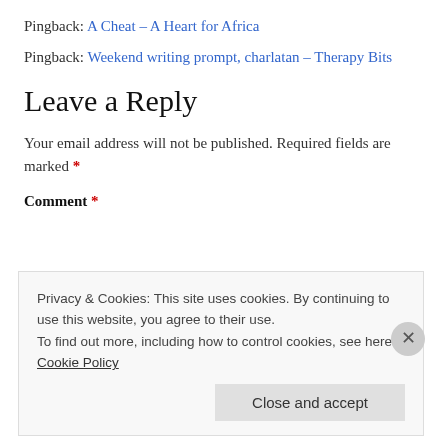Pingback: A Cheat – A Heart for Africa
Pingback: Weekend writing prompt, charlatan – Therapy Bits
Leave a Reply
Your email address will not be published. Required fields are marked *
Comment *
Privacy & Cookies: This site uses cookies. By continuing to use this website, you agree to their use. To find out more, including how to control cookies, see here: Cookie Policy